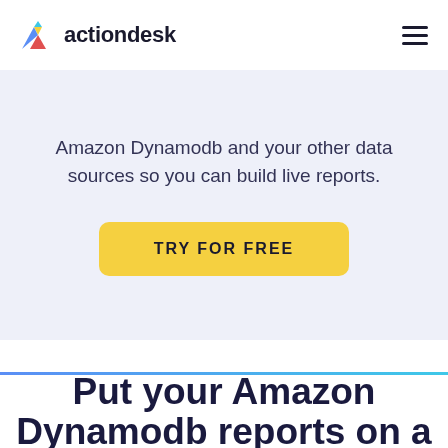actiondesk
Amazon Dynamodb and your other data sources so you can build live reports.
TRY FOR FREE
Put your Amazon Dynamodb reports on a